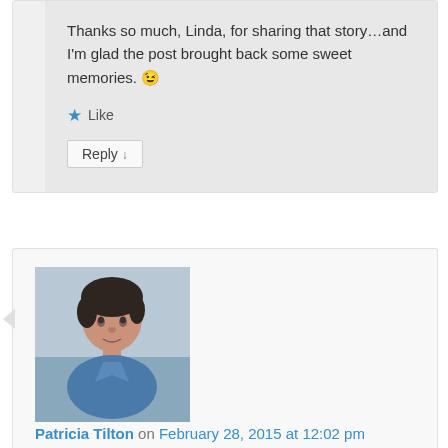Thanks so much, Linda, for sharing that story…and I'm glad the post brought back some sweet memories. 😉
★ Like
Reply ↓
[Figure (photo): Avatar photo of Patricia Tilton, a woman with short dark hair]
Patricia Tilton on February 28, 2015 at 12:02 pm said:
What a comforting book for children who become anxious about leaving a parent.
★ Like